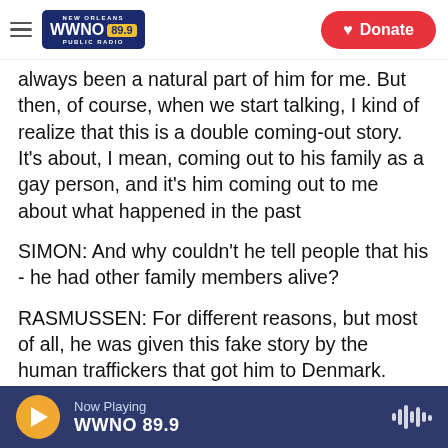WWNO 89.9 New Orleans Public Radio — Donate
always been a natural part of him for me. But then, of course, when we start talking, I kind of realize that this is a double coming-out story. It's about, I mean, coming out to his family as a gay person, and it's him coming out to me about what happened in the past
SIMON: And why couldn't he tell people that his - he had other family members alive?
RASMUSSEN: For different reasons, but most of all, he was given this fake story by the human traffickers that got him to Denmark.
Now Playing WWNO 89.9